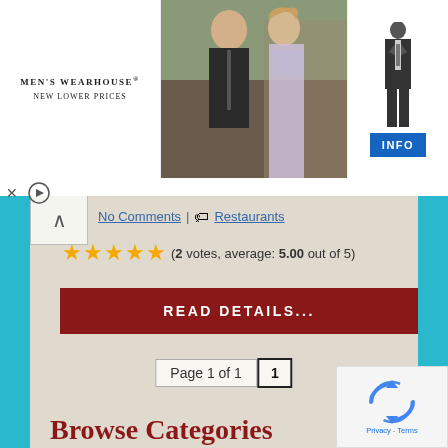[Figure (photo): Men's Wearhouse advertisement banner showing a couple in formal wear and a mannequin in a suit with an INFO button]
No Comments | 🏷 Restaurants
⭐⭐⭐⭐⭐ (2 votes, average: 5.00 out of 5)
READ DETAILS...
Page 1 of 1   1
Browse Categories